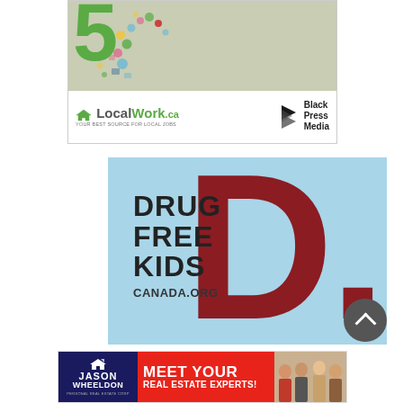[Figure (advertisement): LocalWork.ca advertisement with Black Press Media logo. Top portion shows a beige/green background with the number 5 and colorful dot artwork. Bottom white section shows LocalWork.ca logo with tagline 'YOUR BEST SOURCE FOR LOCAL JOBS' and Black Press Media logo.]
[Figure (advertisement): Drug Free Kids Canada.org advertisement on light blue background with a large dark red letter D on the right side and bold black text reading DRUG FREE KIDS CANADA.ORG on the left.]
[Figure (advertisement): Jason Wheeldon real estate advertisement with dark blue section showing JASON WHEELDON name and logo, red center section with MEET YOUR REAL ESTATE EXPERTS text, and right section showing photos of real estate team members.]